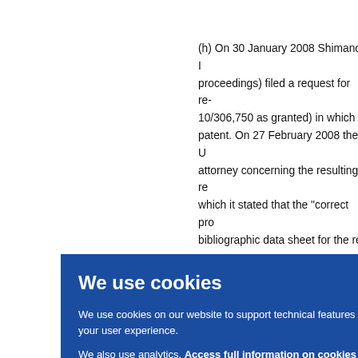(h) On 30 January 2008 Shimano Inc (proceedings) filed a request for re-examination of 10/306,750 as granted) in which it raised patent. On 27 February 2008 the U attorney concerning the resulting re- which it stated that the "correct pro bibliographic data sheet for the re-e to the correct priority application US
We use cookies on our website to support technical features that enhance your user experience.
We also use analytics. Access full information on cookies that we use and how to manage them
t coul im pr he se made nber 2 3799 er the o cont